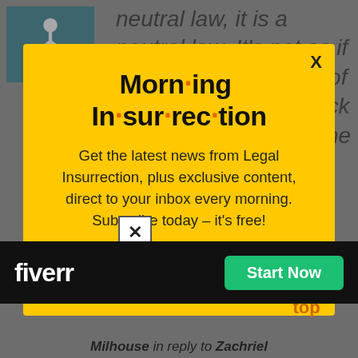[Figure (screenshot): Disability accessibility icon in teal box, top-left corner]
neutral law, it is a neutral law. It's not as if there were some law of nature that forced black criminals to choose one crime and white
[Figure (screenshot): Morning Insurrection email newsletter signup modal with yellow background, showing title 'Morn·ing In·sur·rec·tion', subscription text, and JOIN NOW button]
So, yes, it is systemic racism that led to this disparity...
Back to top
[Figure (screenshot): Fiverr advertisement banner with dark background, Fiverr logo, and Start Now green button]
Milhouse in reply to Zachriel